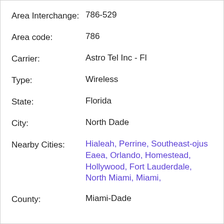Area Interchange: 786-529
Area code: 786
Carrier: Astro Tel Inc - Fl
Type: Wireless
State: Florida
City: North Dade
Nearby Cities: Hialeah, Perrine, Southeast-ojus Eaea, Orlando, Homestead, Hollywood, Fort Lauderdale, North Miami, Miami,
County: Miami-Dade